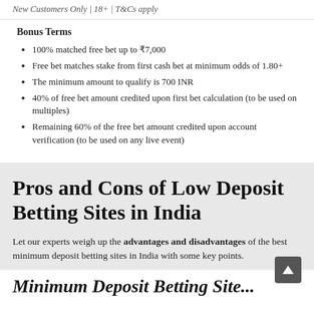New Customers Only | 18+ | T&Cs apply
Bonus Terms
100% matched free bet up to ₹7,000
Free bet matches stake from first cash bet at minimum odds of 1.80+
The minimum amount to qualify is 700 INR
40% of free bet amount credited upon first bet calculation (to be used on multiples)
Remaining 60% of the free bet amount credited upon account verification (to be used on any live event)
Pros and Cons of Low Deposit Betting Sites in India
Let our experts weigh up the advantages and disadvantages of the best minimum deposit betting sites in India with some key points.
Minimum Deposit Betting Site...